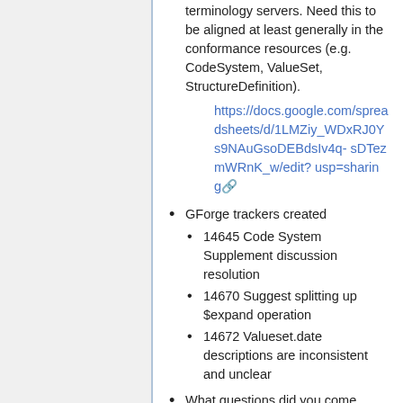terminology servers. Need this to be aligned at least generally in the conformance resources (e.g. CodeSystem, ValueSet, StructureDefinition).
https://docs.google.com/spreadsheets/d/1LMZiy_WDxRJ0Ys9NAuGsoDEBdsIv4q-sDTezmWRnK_w/edit?usp=sharing
GForge trackers created
14645 Code System Supplement discussion resolution
14670 Suggest splitting up $expand operation
14672 Valueset.date descriptions are inconsistent and unclear
What questions did you come away with?